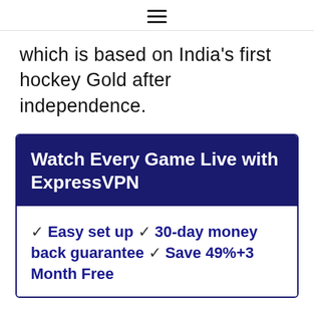≡
which is based on India's first hockey Gold after independence.
Watch Every Game Live with ExpressVPN
✓ Easy set up ✓ 30-day money back guarantee ✓ Save 49%+3 Month Free